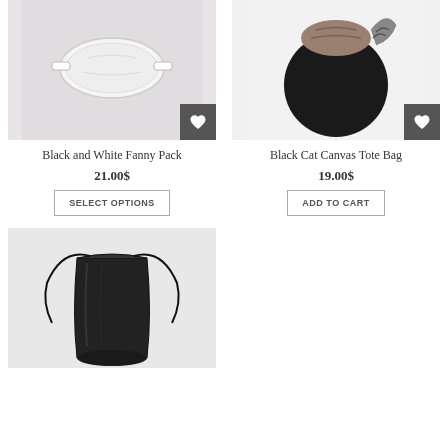[Figure (photo): Black and White Fanny Pack product photo on light background]
[Figure (photo): Black Cat Canvas Tote Bag product photo showing a cat peeking out of a black tote bag]
Black and White Fanny Pack
21.00$
SELECT OPTIONS
Black Cat Canvas Tote Bag
19.00$
ADD TO CART
[Figure (photo): Black drawstring bag product photo on light background]